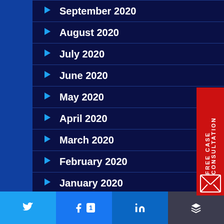September 2020
August 2020
July 2020
June 2020
May 2020
April 2020
March 2020
February 2020
January 2020
December 2019
[Figure (infographic): Red side tab with text FREE CASE CONSULTATION and envelope icon]
Twitter share | Facebook share 1 | LinkedIn share | Layers share